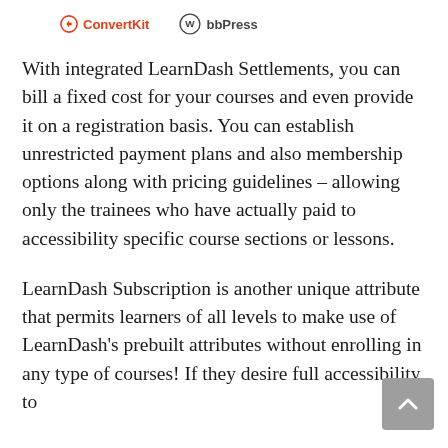[Figure (logo): ConvertKit logo (red circle icon with 'ConvertKit' text) and WordPress logo (circular W icon with 'bbPress' text)]
With integrated LearnDash Settlements, you can bill a fixed cost for your courses and even provide it on a registration basis. You can establish unrestricted payment plans and also membership options along with pricing guidelines – allowing only the trainees who have actually paid to accessibility specific course sections or lessons.
LearnDash Subscription is another unique attribute that permits learners of all levels to make use of LearnDash's prebuilt attributes without enrolling in any type of courses! If they desire full accessibility to